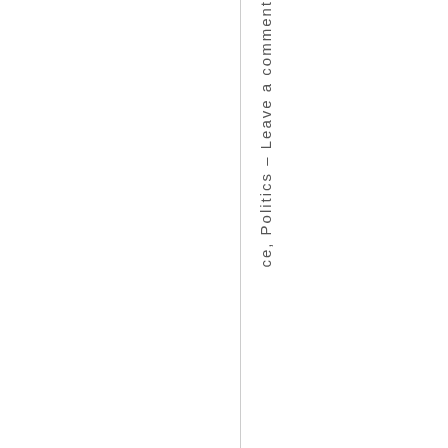ce, Politics – Leave a comment